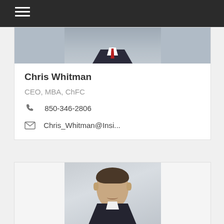[Figure (photo): Dark navigation bar with hamburger menu icon at top of page]
[Figure (photo): Contact card showing cropped portrait photo of person in suit with red tie, partially visible at bottom of frame]
Chris Whitman
CEO, MBA, ChFC
850-346-2806
Chris_Whitman@Insi...
[Figure (photo): Second contact card showing professional headshot of a man with short dark hair, wearing a dark suit and white dress shirt, smiling slightly, photographed against a neutral gray background]